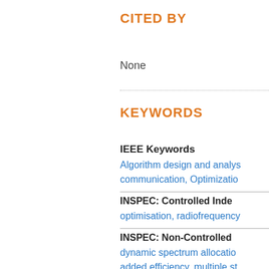CITED BY
None
KEYWORDS
IEEE Keywords
Algorithm design and analysis, communication, Optimization
INSPEC: Controlled Index
optimisation, radiofrequency
INSPEC: Non-Controlled
dynamic spectrum allocation, added efficiency, multiple st